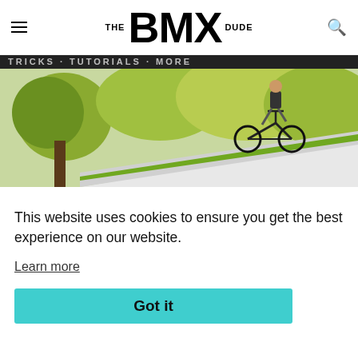THE BMX DUDE
[Figure (photo): BMX rider performing a trick on a concrete ledge in a park with yellow-green trees in background]
This website uses cookies to ensure you get the best experience on our website.
Learn more
Got it
[Figure (photo): Stacked concrete steps at a skate spot, partially visible on right side]